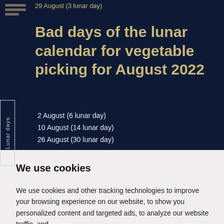29 August (3 lunar day)
2 August (6 lunar day)
10 August (14 lunar day)
26 August (30 lunar day)
Bad days of the lunar calendar for vegetable picking for August 2022
We use cookies
We use cookies and other tracking technologies to improve your browsing experience on our website, to show you personalized content and targeted ads, to analyze our website traffic, and